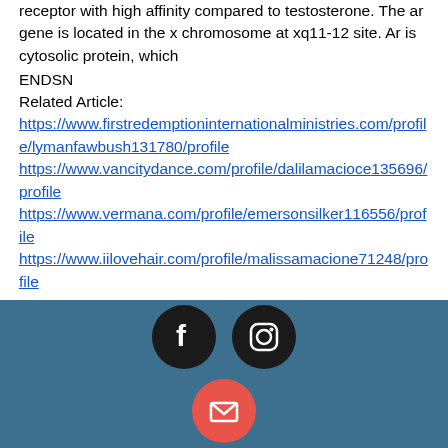receptor with high affinity compared to testosterone. The ar gene is located in the x chromosome at xq11-12 site. Ar is cytosolic protein, which
ENDSN
Related Article:
https://www.firstredemptioninternationalministries.com/profile/lymanfawbush131780/profile https://www.vancitydance.com/profile/dalilamacioce135696/profile https://www.vermana.com/profile/emersonsilker116556/profile https://www.iilovehair.com/profile/malissamacione71248/profile
[Figure (infographic): Footer bar with dark blue background containing social media icons: Facebook (black circle with F logo), Instagram (black circle with camera logo), and email/mail (red circle with envelope logo).]